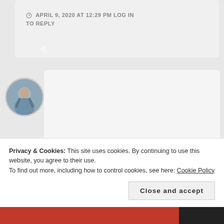APRIL 9, 2020 AT 12:29 PM LOG IN TO REPLY
[Figure (photo): Circular avatar photo of a person sitting]
K.L. Hale
You just about “let the cat out if the bag”……my last line was inspired by you. “Only time will tell.” 🟢
Privacy & Cookies: This site uses cookies. By continuing to use this website, you agree to their use.
To find out more, including how to control cookies, see here: Cookie Policy
Close and accept